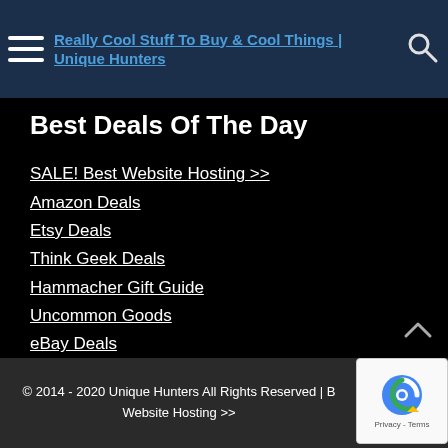Really Cool Stuff To Buy & Cool Things | Unique Hunters
Best Deals Of The Day
SALE! Best Website Hosting >>
Amazon Deals
Etsy Deals
Think Geek Deals
Hammacher Gift Guide
Uncommon Goods
eBay Deals
Sitemap
© 2014 - 2020 Unique Hunters All Rights Reserved | Best Website Hosting >>